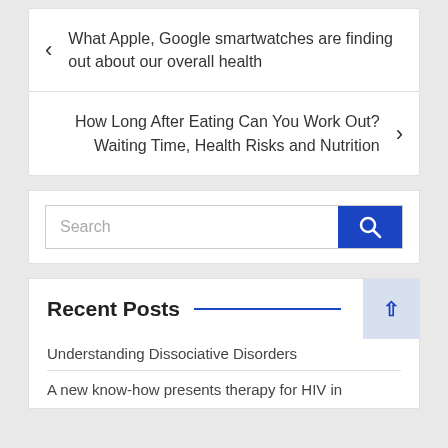< What Apple, Google smartwatches are finding out about our overall health
How Long After Eating Can You Work Out? Waiting Time, Health Risks and Nutrition >
Search
Recent Posts
Understanding Dissociative Disorders
A new know-how presents therapy for HIV in